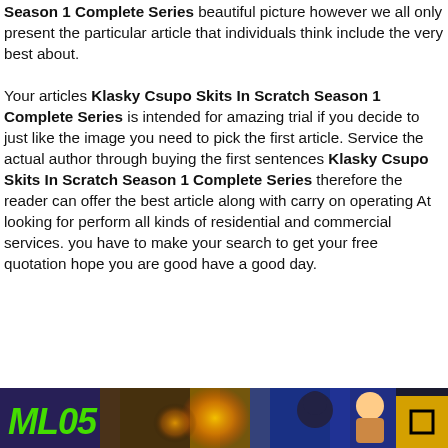Season 1 Complete Series beautiful picture however we all only present the particular article that individuals think include the very best about.

Your articles Klasky Csupo Skits In Scratch Season 1 Complete Series is intended for amazing trial if you decide to just like the image you need to pick the first article. Service the actual author through buying the first sentences Klasky Csupo Skits In Scratch Season 1 Complete Series therefore the reader can offer the best article along with carry on operating At looking for perform all kinds of residential and commercial services. you have to make your search to get your free quotation hope you are good have a good day.
[Figure (illustration): Bottom banner image showing ML05 logo text in green on dark background with character silhouettes and orange/gold orbs, with a gold/yellow square button in bottom right corner]